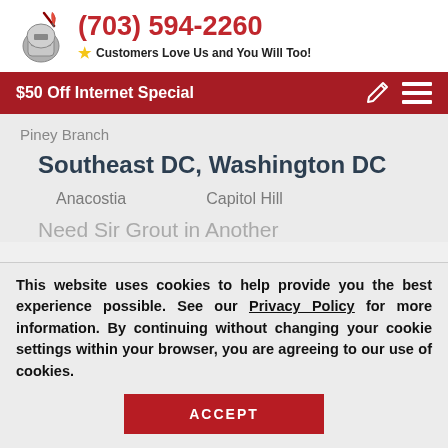[Figure (logo): Sir Grout knight logo with quill pen]
(703) 594-2260
★ Customers Love Us and You Will Too!
$50 Off Internet Special
Piney Branch
Southeast DC, Washington DC
Anacostia    Capitol Hill
Need Sir Grout in Another
This website uses cookies to help provide you the best experience possible. See our Privacy Policy for more information. By continuing without changing your cookie settings within your browser, you are agreeing to our use of cookies.
ACCEPT